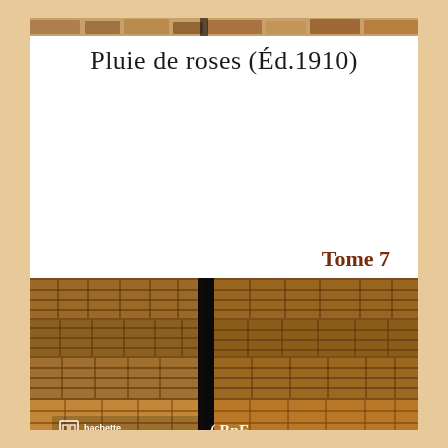Pluie de roses (Éd.1910)
Tome 7
[Figure (photo): Photograph of shelves of old leather-bound books with brown spines, with a dark vertical gap between two stacks. Hachette Livre and BnF logos visible at the bottom.]